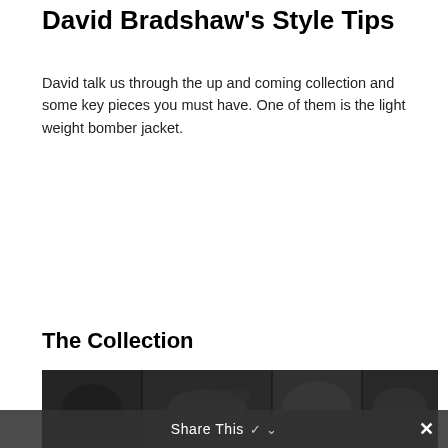David Bradshaw's Style Tips
David talk us through the up and coming collection and some key pieces you must have. One of them is the light weight bomber jacket.
The Collection
[Figure (photo): A dark-toned photograph showing a collection of clothing items and accessories, partially visible at the bottom of the page.]
Share This ✓  ✕